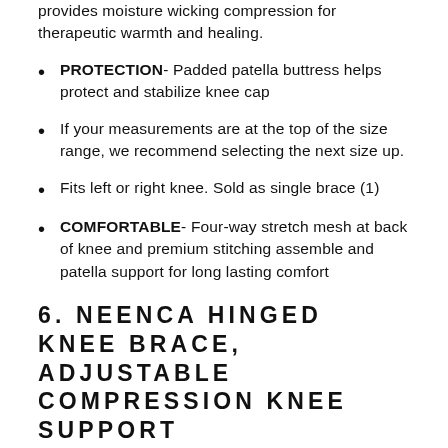provides moisture wicking compression for therapeutic warmth and healing.
PROTECTION- Padded patella buttress helps protect and stabilize knee cap
If your measurements are at the top of the size range, we recommend selecting the next size up.
Fits left or right knee. Sold as single brace (1)
COMFORTABLE- Four-way stretch mesh at back of knee and premium stitching assemble and patella support for long lasting comfort
6. NEENCA HINGED KNEE BRACE, ADJUSTABLE COMPRESSION KNEE SUPPORT